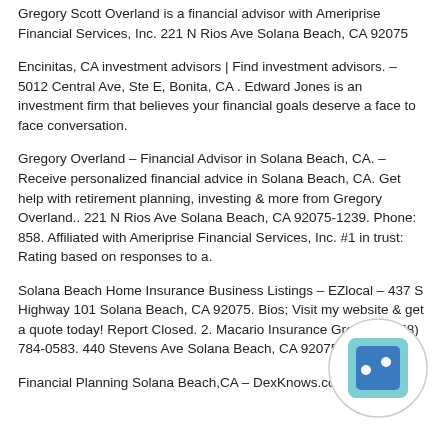Gregory Scott Overland is a financial advisor with Ameriprise Financial Services, Inc. 221 N Rios Ave Solana Beach, CA 92075
Encinitas, CA investment advisors | Find investment advisors. – 5012 Central Ave, Ste E, Bonita, CA . Edward Jones is an investment firm that believes your financial goals deserve a face to face conversation.
Gregory Overland – Financial Advisor in Solana Beach, CA. – Receive personalized financial advice in Solana Beach, CA. Get help with retirement planning, investing & more from Gregory Overland.. 221 N Rios Ave Solana Beach, CA 92075-1239. Phone: 858. Affiliated with Ameriprise Financial Services, Inc. #1 in trust: Rating based on responses to a.
Solana Beach Home Insurance Business Listings – EZlocal – 437 S Highway 101 Solana Beach, CA 92075. Bios; Visit my website & get a quote today! Report Closed. 2. Macario Insurance Group. 0 (858) 784-0583. 440 Stevens Ave Solana Beach, CA 92075.
Financial Planning Solana Beach,CA – DexKnows.com – Financial
[Figure (illustration): A circular icon with a light blue/teal background containing a small blue square with two dots visible, resembling a dice or app icon, overlaid on the bottom-right area of the page.]